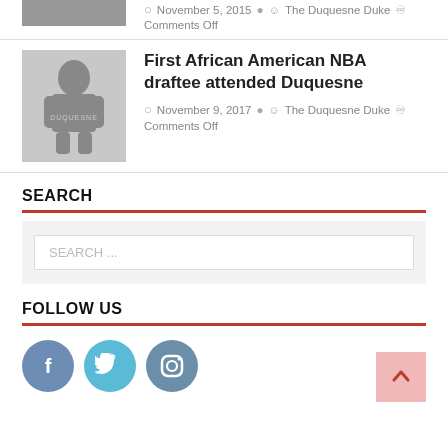[Figure (photo): Partial view of top article thumbnail, cropped]
November 5, 2015  The Duquesne Duke  Comments Off
[Figure (photo): Black and white photo of a basketball player in a Duquesne uniform]
First African American NBA draftee attended Duquesne
November 9, 2017  The Duquesne Duke  Comments Off
SEARCH
SEARCH ...
FOLLOW US
[Figure (logo): Facebook icon circle]
[Figure (logo): Twitter icon circle]
[Figure (logo): Instagram icon circle]